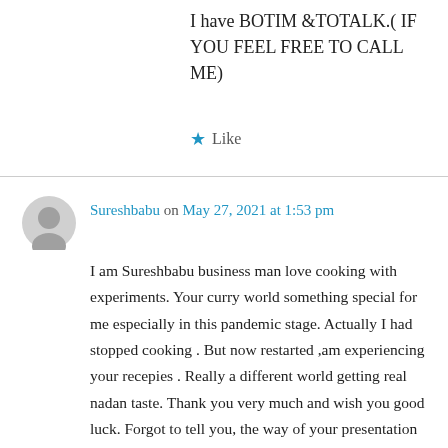I have BOTIM &TOTALK.( IF YOU FEEL FREE TO CALL ME)
★ Like
Sureshbabu on May 27, 2021 at 1:53 pm
I am Sureshbabu business man love cooking with experiments. Your curry world something special for me especially in this pandemic stage. Actually I had stopped cooking . But now restarted ,am experiencing your recepies . Really a different world getting real nadan taste. Thank you very much and wish you good luck. Forgot to tell you, the way of your presentation is like a family member.